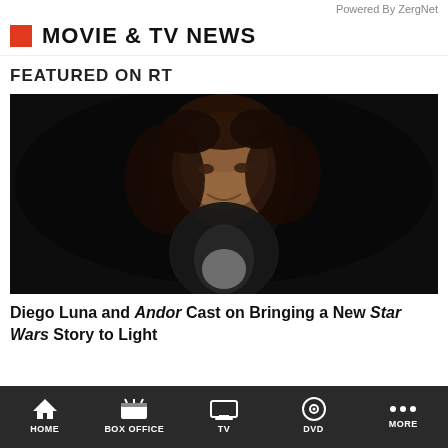Powered By ZergNet
MOVIE & TV NEWS
FEATURED ON RT
[Figure (photo): Photo of Diego Luna smiling against a dark background, wearing a dark jacket and white shirt]
Diego Luna and Andor Cast on Bringing a New Star Wars Story to Light
HOME   BOX OFFICE   TV   DVD   MORE